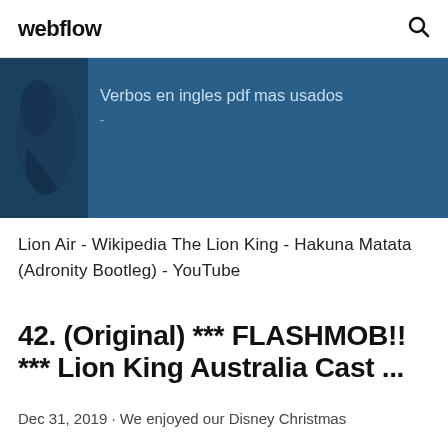webflow
[Figure (screenshot): Blue banner with an image on the left and text 'Verbos en ingles pdf mas usados' on a dark blue background]
Lion Air - Wikipedia The Lion King - Hakuna Matata (Adronity Bootleg) - YouTube
42. (Original) *** FLASHMOB!! *** Lion King Australia Cast ...
Dec 31, 2019 · We enjoyed our Disney Christmas